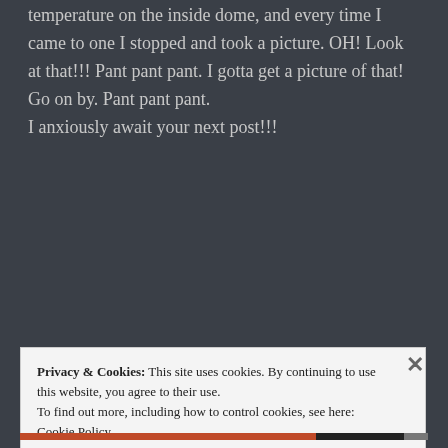temperature on the inside dome, and every time I came to one I stopped and took a picture. OH! Look at that!!! Pant pant pant. I gotta get a picture of that! Go on by. Pant pant pant.
I anxiously await your next post!!!
★ Liked by 2 people
BEL says:
May 7, 2020 at 1:27 pm
↩ Reply
Privacy & Cookies: This site uses cookies. By continuing to use this website, you agree to their use.
To find out more, including how to control cookies, see here: Cookie Policy
Close and accept